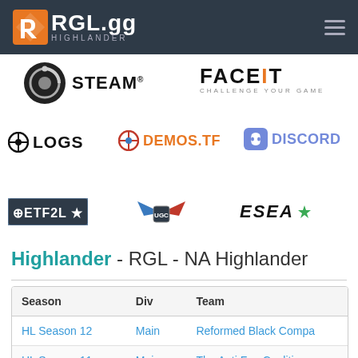RGL.gg HIGHLANDER
[Figure (logo): Steam logo with text STEAM]
[Figure (logo): FACEIT - CHALLENGE YOUR GAME logo]
[Figure (logo): LOGS logo with crosshair icon]
[Figure (logo): DEMOS.TF logo with crosshair icon]
[Figure (logo): Discord logo]
[Figure (logo): ETF2L logo]
[Figure (logo): UGC logo with wings]
[Figure (logo): ESEA logo with star]
Highlander - RGL - NA Highlander
| Season | Div | Team |
| --- | --- | --- |
| HL Season 12 | Main | Reformed Black Compa |
| HL Season 11 | Main | The Anti Fun Coalition |